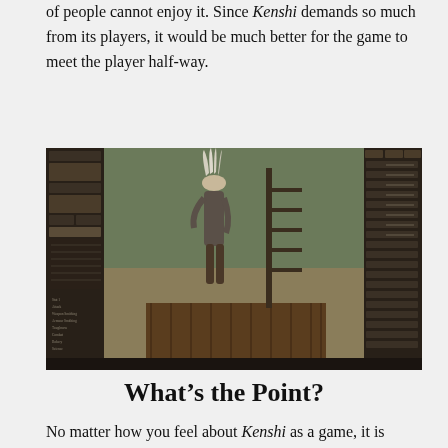of people cannot enjoy it. Since Kenshi demands so much from its players, it would be much better for the game to meet the player half-way.
[Figure (screenshot): Screenshot of Kenshi game character creation or customization screen showing a humanoid figure with white feathered head decoration standing on a wooden dock in a desert landscape. On the left side is a panel with character stats and attributes. On the right side is a panel with sliders for various character attributes. The bottom-left panel shows character skills and stats with numerical values.]
What’s the Point?
No matter how you feel about Kenshi as a game, it is difficult to ignore how much effort needs to go into getting